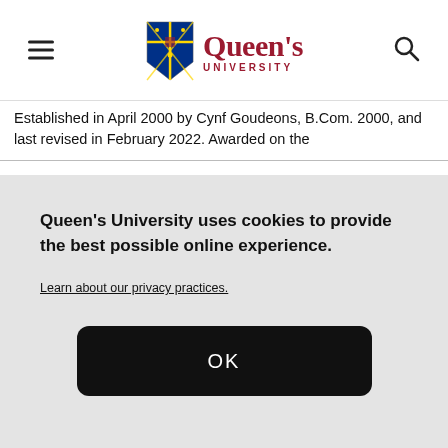[Figure (logo): Queen's University logo with shield crest and wordmark in dark red]
Established in April 2000 by Cynf Goudeons, B.Com. 2000, and last revised in February 2022. Awarded on the
Queen's University uses cookies to provide the best possible online experience.
Learn about our privacy practices.
OK